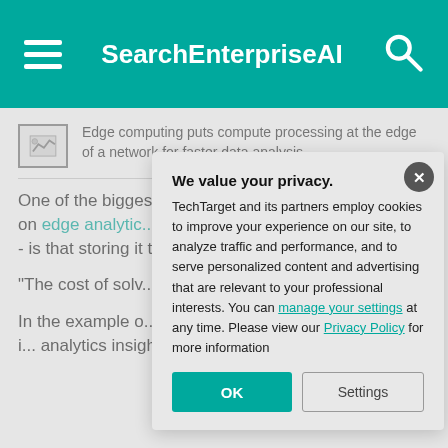SearchEnterpriseAI
[Figure (screenshot): Small image thumbnail icon representing edge computing article]
Edge computing puts compute processing at the edge of a network for faster data analysis.
One of the biggest reasons he advocates for this twist on edge analytics -- from a company called Swim.AI -- is that storing it there is
"The cost of solv... cloud is just ludic...
In the example o... predictions, tran... and processing i... analytics insights
We value your privacy. TechTarget and its partners employ cookies to improve your experience on our site, to analyze traffic and performance, and to serve personalized content and advertising that are relevant to your professional interests. You can manage your settings at any time. Please view our Privacy Policy for more information